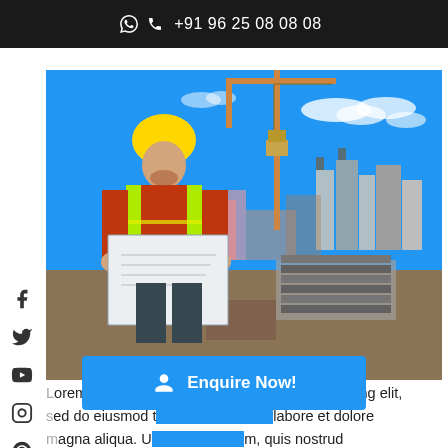📞 +91 96 25 08 08 08
[Figure (photo): Construction worker wearing yellow hard hat and high-visibility vest reviewing blueprints on a rooftop construction site, with a yellow tower crane and city skyline in background]
Lorem ipsum dolor sit amet, consectetur adipisicing elit, sed do eiusmod t... labore et dolore magna aliqua. U... m, quis nostrud xercitation ullamco laboris nisi ut aliquip ex ea